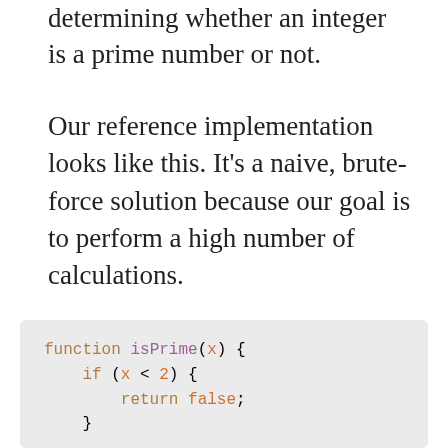determining whether an integer is a prime number or not.
Our reference implementation looks like this. It's a naive, brute-force solution because our goal is to perform a high number of calculations.
function isPrime(x) {
    if (x < 2) {
        return false;
    }

    for (let i = 2; i < x; i++) {
        if (x % i === 0) {
            return false;
        }
    }